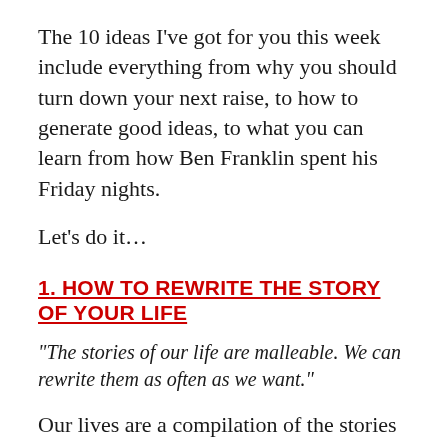The 10 ideas I've got for you this week include everything from why you should turn down your next raise, to how to generate good ideas, to what you can learn from how Ben Franklin spent his Friday nights.
Let's do it…
1. HOW TO REWRITE THE STORY OF YOUR LIFE
“The stories of our life are malleable. We can rewrite them as often as we want.”
Our lives are a compilation of the stories we tell ourselves. That’s something I’ve thought about a lot lately and in particular the way those stories can be changed to alter our perception of our